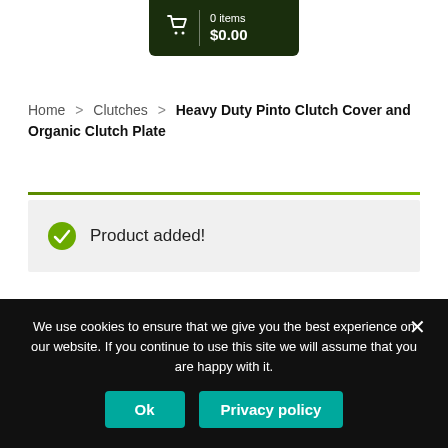[Figure (screenshot): Shopping cart icon with 0 items and $0.00 total in dark green bar]
Home > Clutches > Heavy Duty Pinto Clutch Cover and Organic Clutch Plate
Product added!
CURRENCY CONVERTER
We use cookies to ensure that we give you the best experience on our website. If you continue to use this site we will assume that you are happy with it.
Ok
Privacy policy